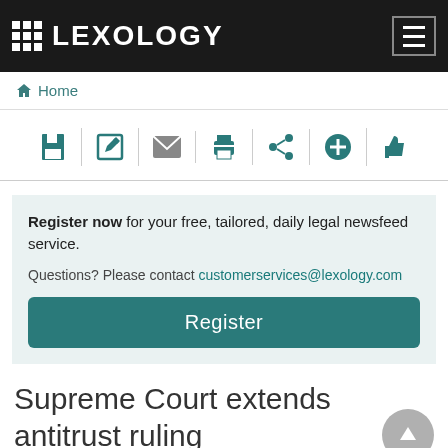LEXOLOGY
[Figure (screenshot): Lexology website toolbar with icons: save, edit, email, print, share, add, like]
Register now for your free, tailored, daily legal newsfeed service. Questions? Please contact customerservices@lexology.com Register
Supreme Court extends antitrust ruling